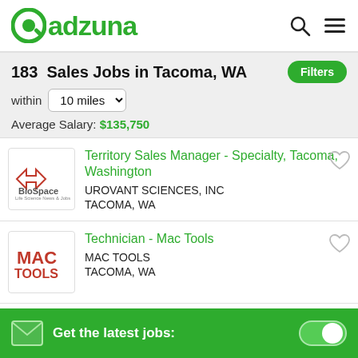adzuna
183  Sales Jobs in Tacoma, WA
within  10 miles
Average Salary: $135,750
[Figure (logo): BioSpace company logo]
Territory Sales Manager - Specialty, Tacoma, Washington
UROVANT SCIENCES, INC
TACOMA, WA
[Figure (logo): Mac Tools company logo]
Technician - Mac Tools
MAC TOOLS
TACOMA, WA
Get the latest jobs: